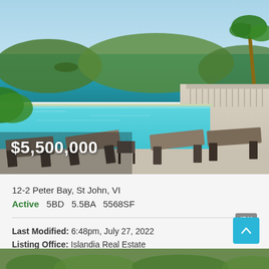[Figure (photo): Luxury villa with infinity pool overlooking turquoise Caribbean waters with green hills and islands in the background, lounge chairs on poolside terrace, palm trees visible]
$5,500,000
12-2 Peter Bay, St John, VI
Active   5BD   5.5BA   5568SF
Last Modified: 6:48pm, July 27, 2022
Listing Office: Islandia Real Estate
[Figure (photo): Partial bottom strip showing aerial or ground view of tropical vegetation]